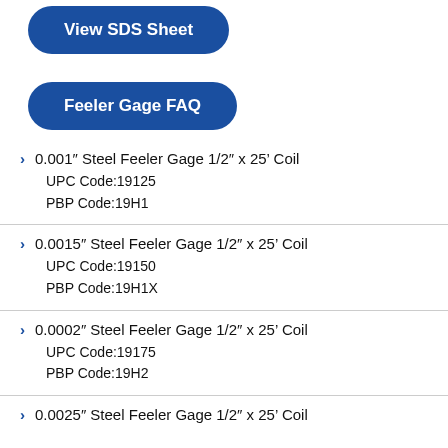[Figure (other): Blue rounded button labeled 'View SDS Sheet']
[Figure (other): Blue rounded button labeled 'Feeler Gage FAQ']
0.001" Steel Feeler Gage 1/2" x 25' Coil
UPC Code:19125
PBP Code:19H1
0.0015" Steel Feeler Gage 1/2" x 25' Coil
UPC Code:19150
PBP Code:19H1X
0.0002" Steel Feeler Gage 1/2" x 25' Coil
UPC Code:19175
PBP Code:19H2
0.0025" Steel Feeler Gage 1/2" x 25' Coil